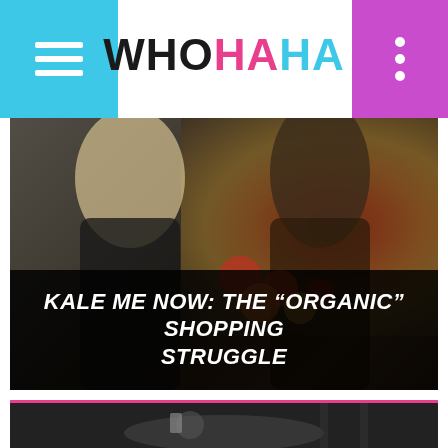WHOHAHA — navigation header with menu and more buttons
[Figure (photo): Two women facing each other in a grocery/produce store, one with blonde hair and one with dark hair, both wearing black jackets. Store shelves with colorful fruits and vegetables in background.]
KALE ME NOW: THE “ORGANIC” SHOPPING STRUGGLE
[Figure (photo): Black and white photo showing a person lying down looking at a phone or device, shot from above at an angle.]